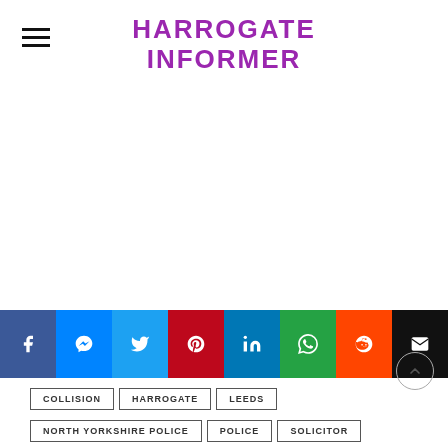HARROGATE INFORMER
[Figure (other): Social share buttons: Facebook, Messenger, Twitter, Pinterest, LinkedIn, WhatsApp, Reddit, Email]
COLLISION
HARROGATE
LEEDS
NORTH YORKSHIRE POLICE
POLICE
SOLICITOR